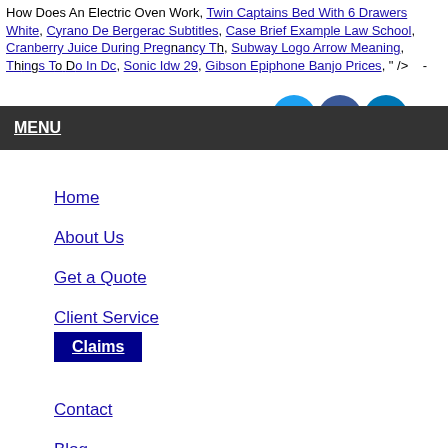How Does An Electric Oven Work, Twin Captains Bed With 6 Drawers White, Cyrano De Bergerac Subtitles, Case Brief Example Law School, Cranberry Juice During Pregnancy Third Trimester, Subway Logo Arrow Meaning, Things To Do In Dc, Sonic Idw 29, Gibson Epiphone Banjo Prices, " />    -
MENU
Home
About Us
Get a Quote
Client Service
Claims
Contact
Blog